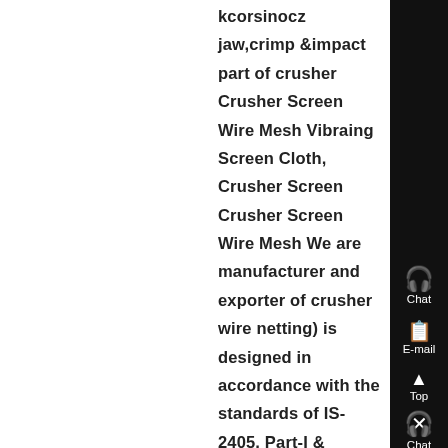kcorsinocz jaw,crimp &impact part of crusher Crusher Screen Wire Mesh Vibraing Screen Cloth, Crusher Screen Crusher Screen Wire Mesh We are manufacturer and exporter of crusher wire netting) is designed in accordance with the standards of IS-2405, Part-I & BISCrimp Type: Double crimp, intermediate, dovex, lock crimpWoven Wiremesh ishard drawn steel ,...
[Figure (photo): Thumbnail image of industrial crusher/mining machine equipment]
jaw crimp impact part of crusher_crusher - Know More
Jawcrimp Impact Part Of Crusher- EXODUS Mining machine Jaw crimp and impact part of crusher homelibya jaw